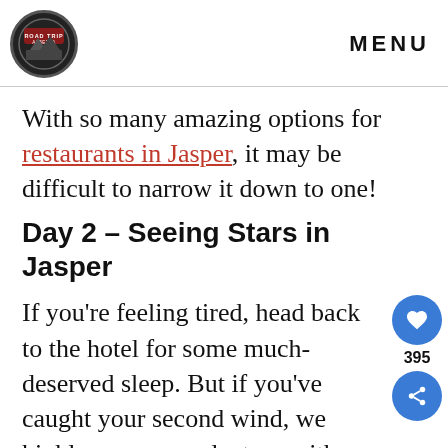ROAD TRIP ALBERTA — MENU
With so many amazing options for restaurants in Jasper, it may be difficult to narrow it down to one!
Day 2 – Seeing Stars in Jasper
If you're feeling tired, head back to the hotel for some much-deserved sleep. But if you've caught your second wind, we highly recommend a tour with the Jasper Dark Sky Preserve. Jasper National Park is one of only 17 Dark Sky